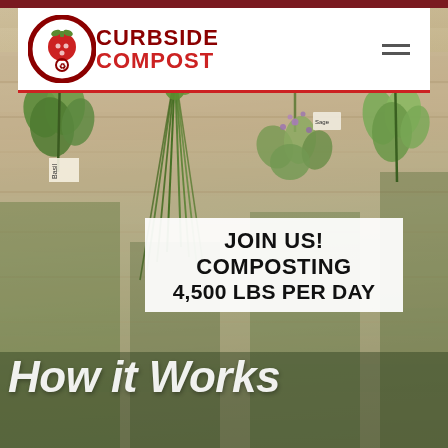[Figure (photo): Background photograph of bunches of fresh herbs (basil, sage, rosemary, chives) hanging from a string against a light wood plank wall.]
Curbside Compost — navigation bar with logo and hamburger menu
JOIN US! COMPOSTING 4,500 LBS PER DAY
How it Works